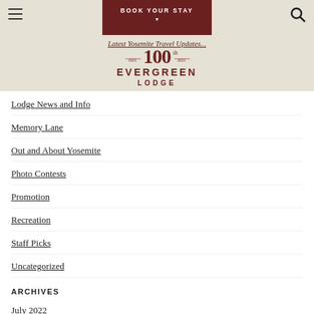BOOK YOUR STAY
Latest Yosemite Travel Updates...
[Figure (logo): Evergreen Lodge 100th anniversary logo (1921-2021)]
Lodge News and Info
Memory Lane
Out and About Yosemite
Photo Contests
Promotion
Recreation
Staff Picks
Uncategorized
ARCHIVES
July 2022
May 2022